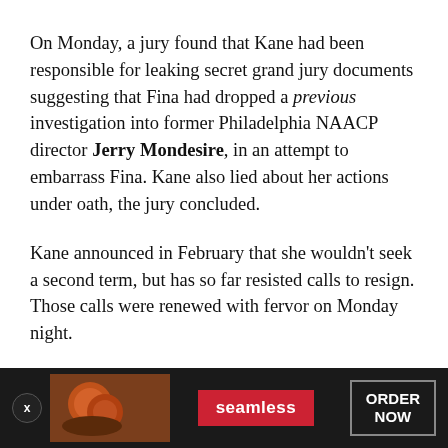On Monday, a jury found that Kane had been responsible for leaking secret grand jury documents suggesting that Fina had dropped a previous investigation into former Philadelphia NAACP director Jerry Mondesire, in an attempt to embarrass Fina. Kane also lied about her actions under oath, the jury concluded.
Kane announced in February that she wouldn't seek a second term, but has so far resisted calls to resign. Those calls were renewed with fervor on Monday night.
“As I have made clear, I do not believe Kathleen Kane should be Attorney General of the Commonwealth of Pennsylvania,” Governor Tom Wolf said in a statement. “I believed this when she was charged, and today, after conviction, there should be no question that she should
[Figure (other): Advertisement banner for Seamless food delivery service with dark background, food image on left, Seamless logo in red center, and ORDER NOW button on right. Close button (X) in bottom left corner.]